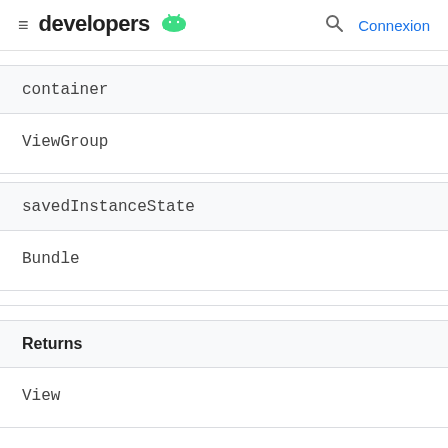≡ developers 🤖  🔍  Connexion
container
ViewGroup
savedInstanceState
Bundle
Returns
View